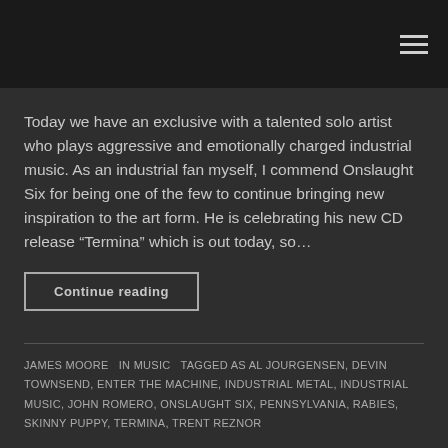Today we have an exclusive with a talented solo artist who plays aggressive and emotionally charged industrial music. As an industrial fan myself, I commend Onslaught Six for being one of the few to continue bringing new inspiration to the art form. He is celebrating his new CD release “Termina” which is out today, so…
Continue reading
JAMES MOORE   IN MUSIC   TAGGED AS AL JOURGENSEN, DEVIN TOWNSEND, ENTER THE MACHINE, INDUSTRIAL METAL, INDUSTRIAL MUSIC, JOHN ROMERO, ONSLAUGHT SIX, PENNSYLVANIA, RABIES, SKINNY PUPPY, TERMINA, TRENT REZNOR